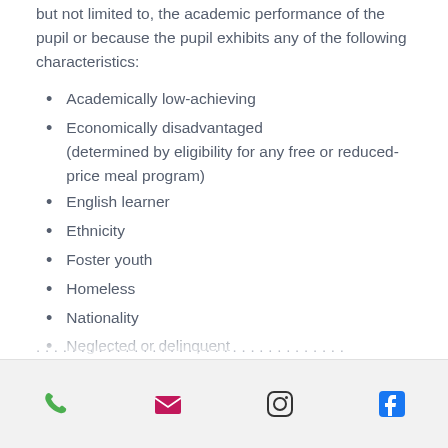but not limited to, the academic performance of the pupil or because the pupil exhibits any of the following characteristics:
Academically low-achieving
Economically disadvantaged (determined by eligibility for any free or reduced-price meal program)
English learner
Ethnicity
Foster youth
Homeless
Nationality
Neglected or delinquent
Race
Sexual orientation
Pupils with disabilities
Phone, Email, Instagram, Facebook icons